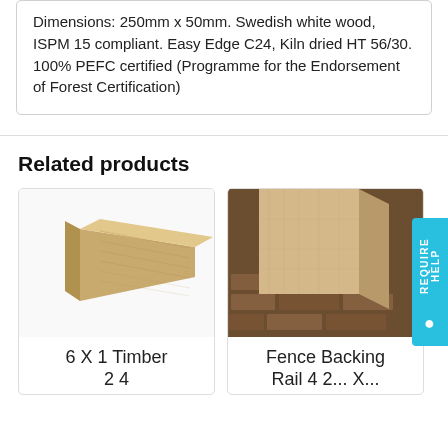Dimensions: 250mm x 50mm. Swedish white wood, ISPM 15 compliant. Easy Edge C24, Kiln dried HT 56/30. 100% PEFC certified (Programme for the Endorsement of Forest Certification)
Related products
[Figure (photo): A single flat plank of light-colored timber (6 X 1 Timber) on a white background]
6 X 1 Timber 2 4...
[Figure (photo): Close-up of a squared wooden post/rail against a brick wall background (Fence Backing Rail)]
Fence Backing Rail 4 2... X...